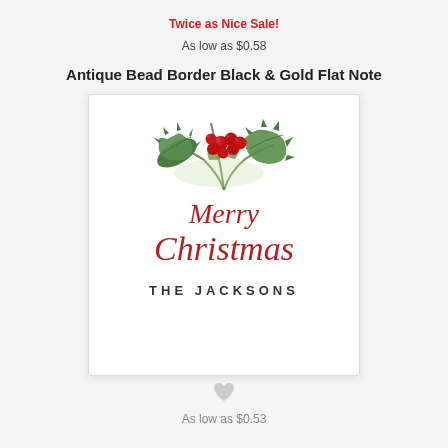Twice as Nice Sale!
As low as $0.58
Antique Bead Border Black & Gold Flat Note
[Figure (illustration): Product preview card showing a watercolor holly branch with red berries, 'Merry Christmas' in red script, and 'THE JACKSONS' in spaced serif text below, on a white card with light shadow border.]
As low as $0.53